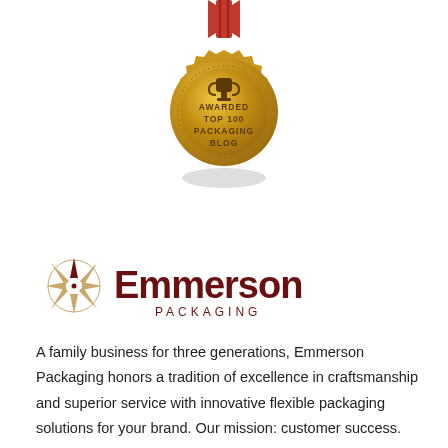[Figure (illustration): Gold medal badge with red ribbon at top, scalloped gold border with dotted inner ring, trophy icon at top center, text reading AWARDED TOP 100 PACKAGING BLOG in dark brown, with a shadow beneath the medal]
[Figure (logo): Emmerson Packaging logo: compass rose icon in brown/tan on the left, large bold dark red text 'Emmerson' with smaller tracking text 'PACKAGING' beneath]
A family business for three generations, Emmerson Packaging honors a tradition of excellence in craftsmanship and superior service with innovative flexible packaging solutions for your brand. Our mission: customer success.